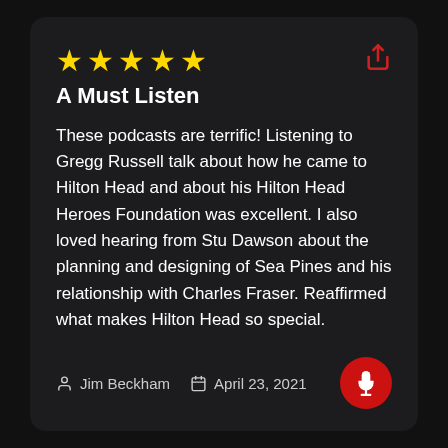[Figure (illustration): Five gold stars rating display]
A Must Listen
These podcasts are terrific! Listening to Gregg Russell talk about how he came to Hilton Head and about his Hilton Head Heroes Foundation was excellent. I also loved hearing from Stu Dawson about the planning and designing of Sea Pines and his relationship with Charles Fraser. Reaffirmed what makes Hilton Head so special.
Jim Beckham   April 23, 2021